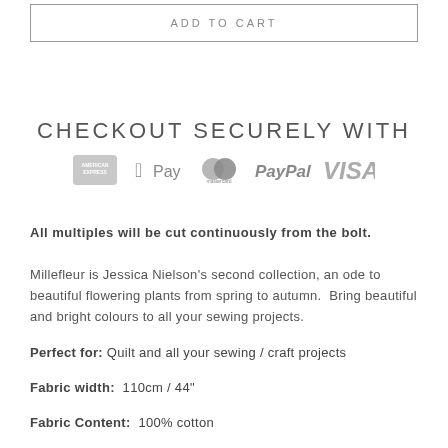ADD TO CART
CHECKOUT SECURELY WITH
[Figure (logo): Payment method logos: American Express, Apple Pay, Mastercard, PayPal, VISA]
All multiples will be cut continuously from the bolt.
Millefleur is Jessica Nielson's second collection, an ode to beautiful flowering plants from spring to autumn. Bring beautiful and bright colours to all your sewing projects.
Perfect for: Quilt and all your sewing / craft projects
Fabric width:  110cm / 44"
Fabric Content:  100% cotton